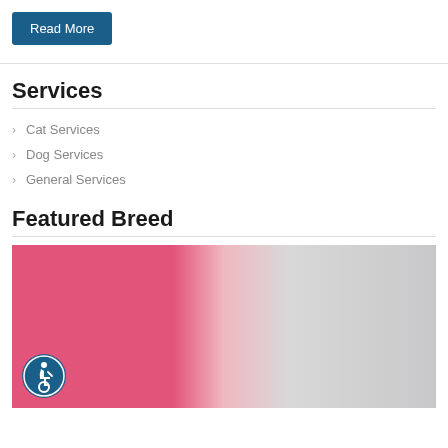Read More
Services
Cat Services
Dog Services
General Services
Featured Breed
[Figure (photo): A photo showing pink/magenta fabric or pillow on the left, and a light-colored couch cushion on the right, with a blurred background. An accessibility icon (wheelchair symbol in blue circle) overlays the bottom-left of the image.]